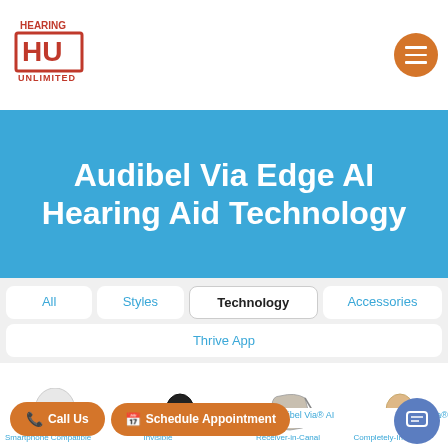[Figure (logo): Hearing HU Unlimited logo with red border box and text]
Audibel Via Edge AI Hearing Aid Technology
All | Styles | Technology | Accessories
Thrive App
[Figure (photo): Row of hearing aid product images: Smartphone Compatible, Invisible, Receiver-in-Canal, Completely-In-Canal]
Arc AI   Audibel Via Edge AI   Audibel Via® AI   Audibel Via®
Call Us   Schedule Appointment